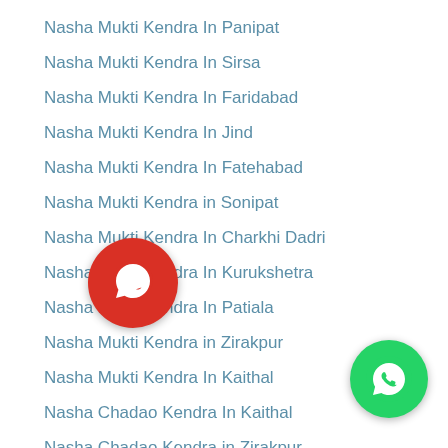Nasha Mukti Kendra In Panipat
Nasha Mukti Kendra In Sirsa
Nasha Mukti Kendra In Faridabad
Nasha Mukti Kendra In Jind
Nasha Mukti Kendra In Fatehabad
Nasha Mukti Kendra in Sonipat
Nasha Mukti Kendra In Charkhi Dadri
Nasha Mukti Kendra In Kurukshetra
Nasha Mukti Kendra In Patiala
Nasha Mukti Kendra in Zirakpur
Nasha Mukti Kendra In Kaithal
Nasha Chadao Kendra In Kaithal
Nasha Chadao Kendra in Zirakpur
Nasha Chadao Kendra In Patiala